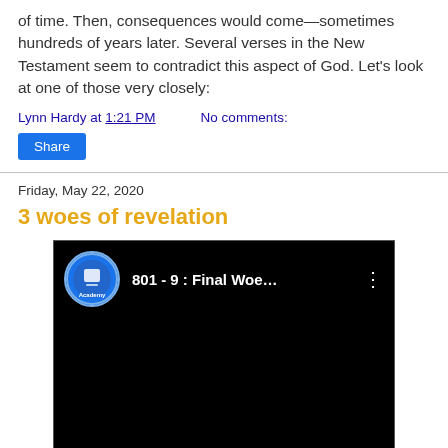of time. Then, consequences would come—sometimes hundreds of years later. Several verses in the New Testament seem to contradict this aspect of God. Let's look at one of those very closely:
Lynn Hardy at 1:21 PM    No comments:
Share
Friday, May 22, 2020
3 woes of revelation
[Figure (screenshot): YouTube video thumbnail showing a black video player with channel icon and title '801 - 9 : Final Woe...' with a three-dot menu icon]